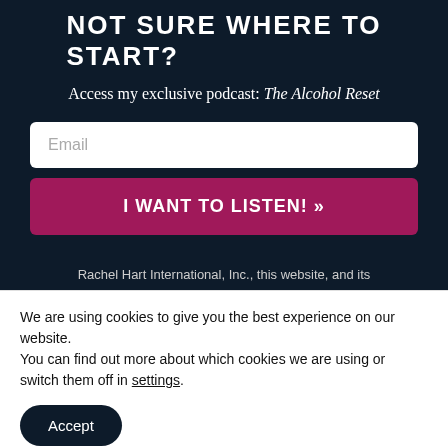NOT SURE WHERE TO START?
Access my exclusive podcast: The Alcohol Reset
Email
I WANT TO LISTEN! »
Rachel Hart International, Inc., this website, and its
We are using cookies to give you the best experience on our website.
You can find out more about which cookies we are using or switch them off in settings.
Accept